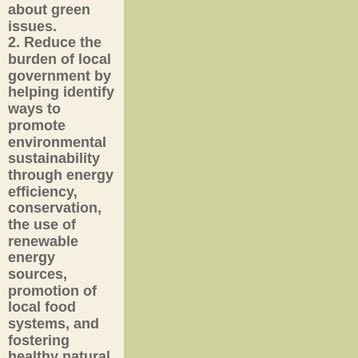about green issues.
2. Reduce the burden of local government by helping identify ways to promote environmental sustainability through energy efficiency, conservation, the use of renewable energy sources, promotion of local food systems, and fostering healthy natural